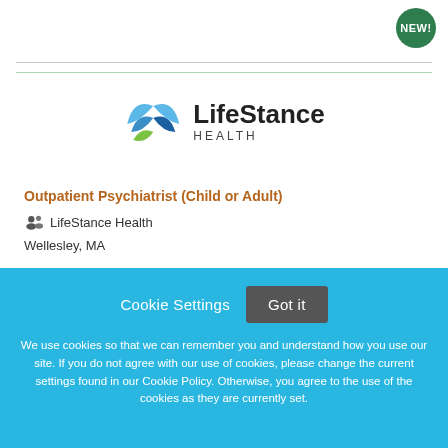[Figure (logo): LifeStance Health logo with stylized wing/leaf icon in blue and green, company name in bold sans-serif]
Outpatient Psychiatrist (Child or Adult)
LifeStance Health
Wellesley, MA
Cookie Settings  Got it
We use cookies so that we can remember you and understand how you use our site. If you do not agree with our use of cookies, please change the current settings found in our Cookie Policy. Otherwise, you agree to the use of the cookies as they are currently set.